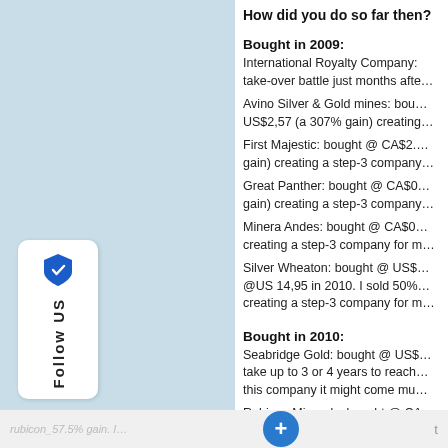How did you do so far then?
Bought in 2009:
International Royalty Company: take-over battle just months afte…
Avino Silver & Gold mines: bou… US$2,57 (a 307% gain) creating…
First Majestic: bought @ CA$2.… gain) creating a step-3 company…
Great Panther: bought @ CA$0… gain) creating a step-3 company…
Minera Andes: bought @ CA$0… creating a step-3 company for m…
Silver Wheaton: bought @ US$… @US 14,95 in 2010. I sold 50%… creating a step-3 company for m…
Bought in 2010:
Seabridge Gold: bought @ US$… take up to 3 or 4 years to reach… this company it might come mu…
Rubicon Minerals: bought @ CA…